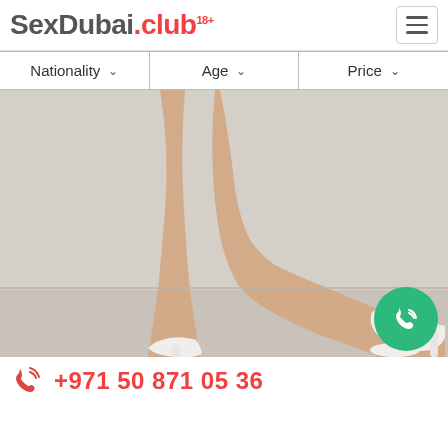SexDubai.club 18+
Nationality   Age   Price
[Figure (photo): Photo showing legs of a person wearing white high heels against a light background]
+971 50 871 05 36